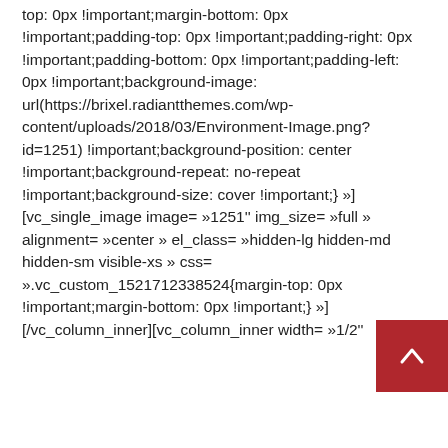top: 0px !important;margin-bottom: 0px !important;padding-top: 0px !important;padding-right: 0px !important;padding-bottom: 0px !important;padding-left: 0px !important;background-image: url(https://brixel.radiantthemes.com/wp-content/uploads/2018/03/Environment-Image.png?id=1251) !important;background-position: center !important;background-repeat: no-repeat !important;background-size: cover !important;} »][vc_single_image image= »1251'' img_size= »full » alignment= »center » el_class= »hidden-lg hidden-md hidden-sm visible-xs » css= ».vc_custom_1521712338524{margin-top: 0px !important;margin-bottom: 0px !important;} »][/vc_column_inner][vc_column_inner width= »1/2''